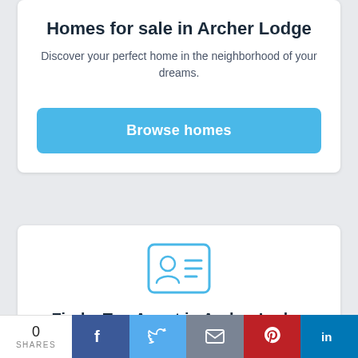Homes for sale in Archer Lodge
Discover your perfect home in the neighborhood of your dreams.
[Figure (other): Blue rounded rectangle button labeled 'Browse homes']
[Figure (other): Contact card / agent ID card icon in light blue outline style]
Find a Top Agent in Archer Lodge
0 SHARES  [Facebook] [Twitter] [Email] [Pinterest] [LinkedIn]